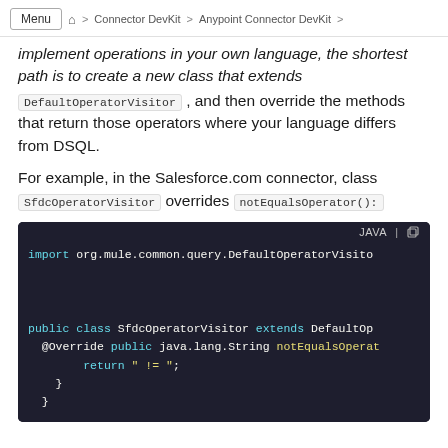Menu > Connector DevKit > Anypoint Connector DevKit >
implement operations in your own language, the shortest path is to create a new class that extends DefaultOperatorVisitor, and then override the methods that return those operators where your language differs from DSQL.
For example, in the Salesforce.com connector, class SfdcOperatorVisitor overrides notEqualsOperator():
[Figure (screenshot): Java code block showing: import org.mule.common.query.DefaultOperatorVisitor; public class SfdcOperatorVisitor extends DefaultOperatorVisitor { @Override public java.lang.String notEqualsOperator() { return " != "; } }]